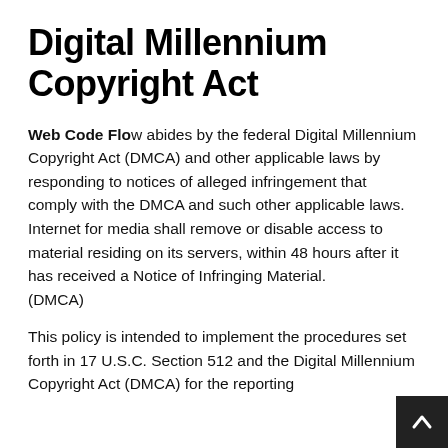Digital Millennium Copyright Act
Web Code Flow abides by the federal Digital Millennium Copyright Act (DMCA) and other applicable laws by responding to notices of alleged infringement that comply with the DMCA and such other applicable laws.
Internet for media shall remove or disable access to material residing on its servers, within 48 hours after it has received a Notice of Infringing Material.
(DMCA)
This policy is intended to implement the procedures set forth in 17 U.S.C. Section 512 and the Digital Millennium Copyright Act (DMCA) for the reporting